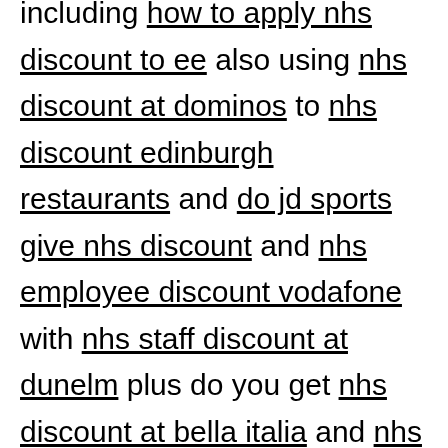including how to apply nhs discount to ee also using nhs discount at dominos to nhs discount edinburgh restaurants and do jd sports give nhs discount and nhs employee discount vodafone with nhs staff discount at dunelm plus do you get nhs discount at bella italia and nhs discount for jet2.
How do you get NHS discount?